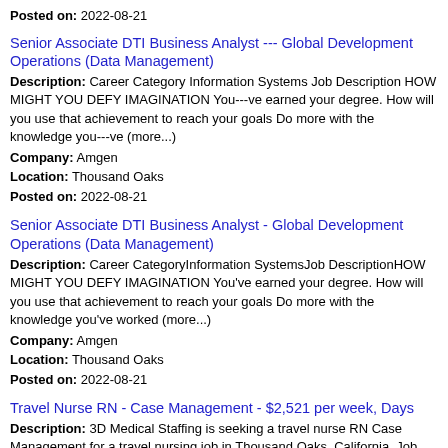Posted on: 2022-08-21
Senior Associate DTI Business Analyst --- Global Development Operations (Data Management)
Description: Career Category Information Systems Job Description HOW MIGHT YOU DEFY IMAGINATION You---ve earned your degree. How will you use that achievement to reach your goals Do more with the knowledge you---ve (more...)
Company: Amgen
Location: Thousand Oaks
Posted on: 2022-08-21
Senior Associate DTI Business Analyst - Global Development Operations (Data Management)
Description: Career CategoryInformation SystemsJob DescriptionHOW MIGHT YOU DEFY IMAGINATION You've earned your degree. How will you use that achievement to reach your goals Do more with the knowledge you've worked (more...)
Company: Amgen
Location: Thousand Oaks
Posted on: 2022-08-21
Travel Nurse RN - Case Management - $2,521 per week, Days
Description: 3D Medical Staffing is seeking a travel nurse RN Case Management for a travel nursing job in Thousand Oaks, California. Job Description Requirements